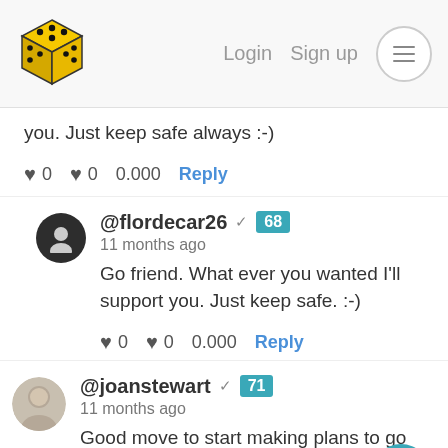[Figure (logo): Yellow 3D dice logo]
Login  Sign up
you. Just keep safe always :-)
♥ 0  ♥ 0  0.000  Reply
@flordecar26 ✓ 68
11 months ago
Go friend. What ever you wanted I'll support you. Just keep safe. :-)
♥ 0  ♥ 0  0.000  Reply
@joanstewart ✓ 71
11 months ago
Good move to start making plans to go back, life has been tough on the family Justin.